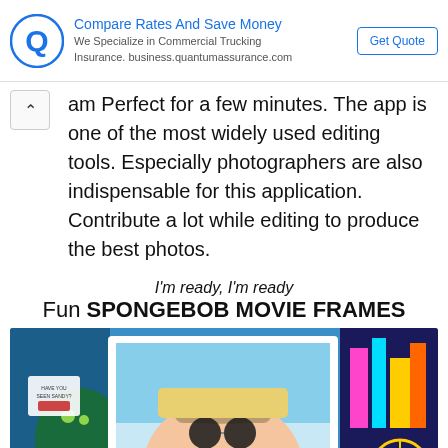[Figure (other): Advertisement banner: Quantum Assurance logo (blue Q letter), title 'Compare Rates And Save Money', subtitle 'We Specialize in Commercial Trucking Insurance. business.quantumassurance.com', and a 'Get Quote' button]
am Perfect for a few minutes. The app is one of the most widely used editing tools. Especially photographers are also indispensable for this application. Contribute a lot while editing to produce the best photos.
I'm ready, I'm ready
Fun SPONGEBOB MOVIE FRAMES
[Figure (photo): A smiling woman wearing sunglasses and a hat, waving at the camera. Behind her is a colorful Spongebob movie-themed frame with underwater and city scenes. A small sticker with text 'Have you seen Sandy?' is visible.]